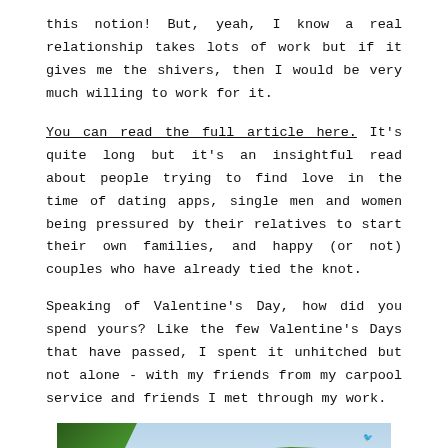this notion! But, yeah, I know a real relationship takes lots of work but if it gives me the shivers, then I would be very much willing to work for it.
You can read the full article here. It's quite long but it's an insightful read about people trying to find love in the time of dating apps, single men and women being pressured by their relatives to start their own families, and happy (or not) couples who have already tied the knot.
Speaking of Valentine's Day, how did you spend yours? Like the few Valentine's Days that have passed, I spent it unhitched but not alone - with my friends from my carpool service and friends I met through my work.
[Figure (photo): Outdoor photo showing tropical greenery with palm trees and colorful flowers, taken during daytime with a light blue sky in the background.]